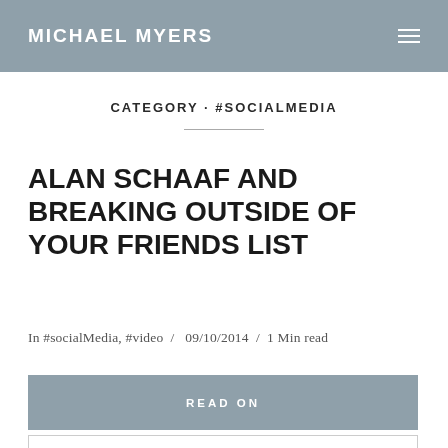MICHAEL MYERS
CATEGORY · #SOCIALMEDIA
ALAN SCHAAF AND BREAKING OUTSIDE OF YOUR FRIENDS LIST
In #socialMedia, #video  /  09/10/2014  /  1 Min read
READ ON
☆ READ LATER